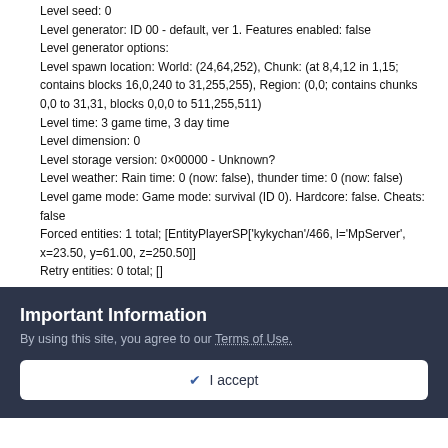Level seed: 0
Level generator: ID 00 - default, ver 1. Features enabled: false
Level generator options:
Level spawn location: World: (24,64,252), Chunk: (at 8,4,12 in 1,15; contains blocks 16,0,240 to 31,255,255), Region: (0,0; contains chunks 0,0 to 31,31, blocks 0,0,0 to 511,255,511)
Level time: 3 game time, 3 day time
Level dimension: 0
Level storage version: 0×00000 - Unknown?
Level weather: Rain time: 0 (now: false), thunder time: 0 (now: false)
Level game mode: Game mode: survival (ID 0). Hardcore: false. Cheats: false
Forced entities: 1 total; [EntityPlayerSP['kykychan'/466, l='MpServer', x=23.50, y=61.00, z=250.50]]
Retry entities: 0 total; []
Important Information
By using this site, you agree to our Terms of Use.
✓ I accept